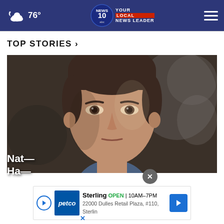76° NEWS 10 YOUR LOCAL NEWS LEADER
TOP STORIES ›
[Figure (photo): Close-up portrait of a middle-aged man with short dark hair against a dark blurred background]
Nat— Ha— [headline text overlaid on image bottom]
[Figure (screenshot): Advertisement banner for Petco in Sterling — OPEN 10AM–7PM, 22000 Dulles Retail Plaza, #110, Sterling]